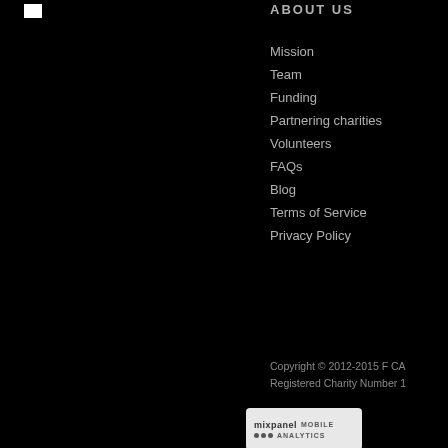[Figure (logo): Small white rectangle logo box in top-left corner]
ABOUT US
Mission
Team
Funding
Partnering charities
Volunteers
FAQs
Blog
Terms of Service
Privacy Policy
Copyright © 2012-2015 F CA
Registered Charity Number 1
[Figure (logo): Mixpanel Mobile Analytics badge]